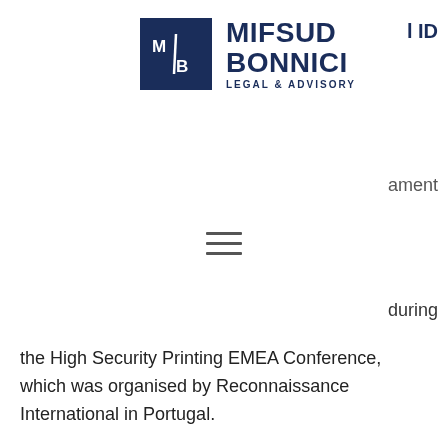[Figure (logo): Mifsud Bonnici Legal & Advisory logo — dark navy square with M/B monogram, bold text MIFSUD BONNICI and tagline LEGAL & ADVISORY]
l ID
ament
during the High Security Printing EMEA Conference, which was organised by Reconnaissance International in Portugal.
[Figure (photo): Blurred photograph, likely from a conference event]